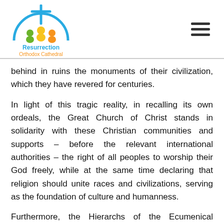[Figure (logo): Resurrection Orthodox Cathedral logo with cross, colorful figures under arch, and text 'Resurrection Orthodox Cathedral' in blue and yellow]
behind in ruins the monuments of their civilization, which they have revered for centuries.
In light of this tragic reality, in recalling its own ordeals, the Great Church of Christ stands in solidarity with these Christian communities and supports – before the relevant international authorities – the right of all peoples to worship their God freely, while at the same time declaring that religion should unite races and civilizations, serving as the foundation of culture and humanness.
Furthermore, the Hierarchs of the Ecumenical Patriarchate directed their attention and prayer toward the thousands of their troubled brothers and sisters in difficult circumstances